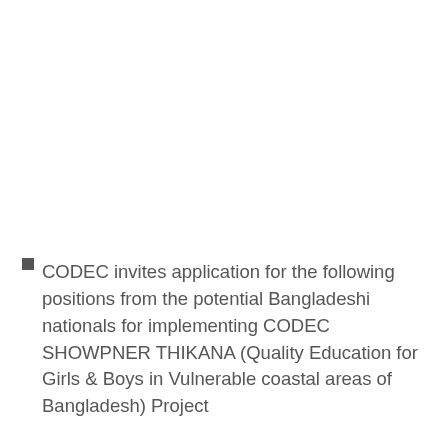CODEC invites application for the following positions from the potential Bangladeshi nationals for implementing CODEC SHOWPNER THIKANA (Quality Education for Girls & Boys in Vulnerable coastal areas of Bangladesh) Project